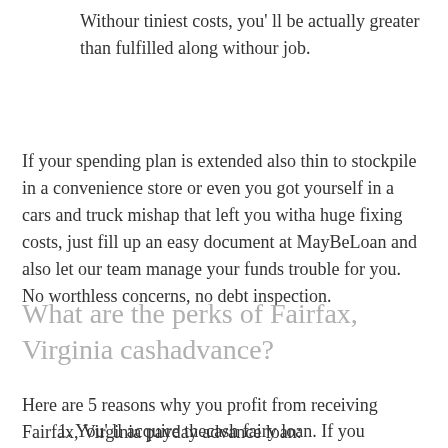Withour tiniest costs, you' ll be actually greater than fulfilled along withour job.
If your spending plan is extended also thin to stockpile in a convenience store or even you got yourself in a cars and truck mishap that left you witha huge fixing costs, just fill up an easy document at MayBeLoan and also let our team manage your funds trouble for you. No worthless concerns, no debt inspection.
What are the perks of Fairfax, Virginia cashadvance?
Here are 5 reasons why you profit from receiving Fairfax, Virginia payday advance loan:
You' ll acquire thecash fairy loan. If you